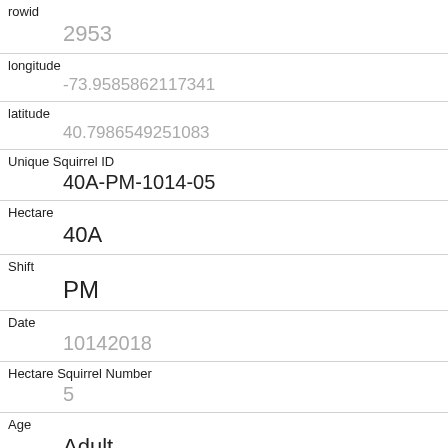| Field | Value |
| --- | --- |
| rowid | 2953 |
| longitude | -73.9585862117341 |
| latitude | 40.7986549251083 |
| Unique Squirrel ID | 40A-PM-1014-05 |
| Hectare | 40A |
| Shift | PM |
| Date | 10142018 |
| Hectare Squirrel Number | 5 |
| Age | Adult |
| Primary Fur Color | Gray |
| Highlight Fur Color |  |